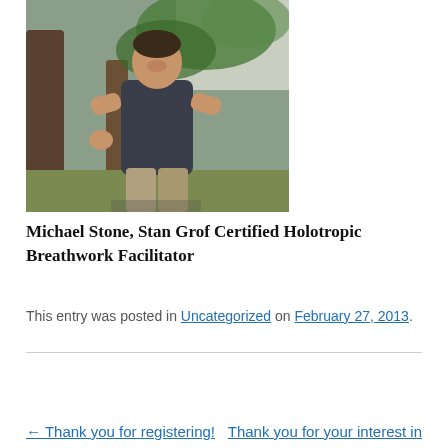[Figure (photo): A man standing outdoors near a tree trunk, smiling, wearing a dark t-shirt and light pants, with tropical vegetation and buildings in background.]
Michael Stone, Stan Grof Certified Holotropic Breathwork Facilitator
This entry was posted in Uncategorized on February 27, 2013.
← Thank you for registering!   Thank you for your interest in